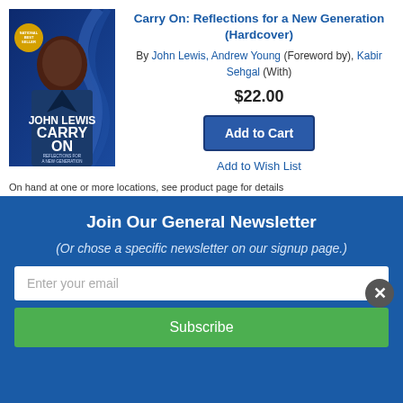[Figure (photo): Book cover of 'Carry On: Reflections for a New Generation' by John Lewis with Kabir Sehgal, showing a portrait of John Lewis against a blue DNA-strand background with NATIONAL BESTSELLER badge]
Carry On: Reflections for a New Generation (Hardcover)
By John Lewis, Andrew Young (Foreword by), Kabir Sehgal (With)
$22.00
Add to Cart
Add to Wish List
On hand at one or more locations, see product page for details
[Figure (photo): Partial book cover of 'The Black Agenda: Bold' — dark cover, partially visible]
The Black Agenda: Bold
Join Our General Newsletter
(Or chose a specific newsletter on our signup page.)
Enter your email
Subscribe